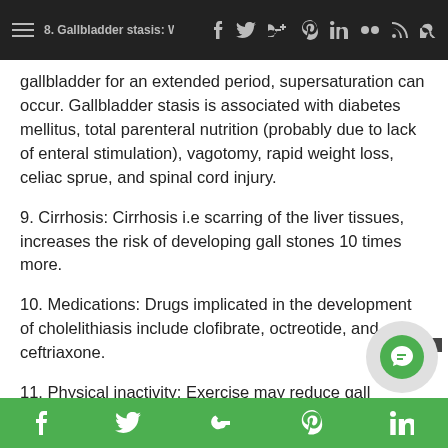8. Gallbladder stasis: When bile remains in the gallbladder for an extended period, supersaturation can occur. [navigation bar]
gallbladder for an extended period, supersaturation can occur. Gallbladder stasis is associated with diabetes mellitus, total parenteral nutrition (probably due to lack of enteral stimulation), vagotomy, rapid weight loss, celiac sprue, and spinal cord injury.
9. Cirrhosis: Cirrhosis i.e scarring of the liver tissues, increases the risk of developing gall stones 10 times more.
10. Medications: Drugs implicated in the development of cholelithiasis include clofibrate, octreotide, and ceftriaxone.
11. Physical inactivity: Exercise may reduce gall
Social share bar: Facebook, Twitter, Google, Pinterest, LinkedIn